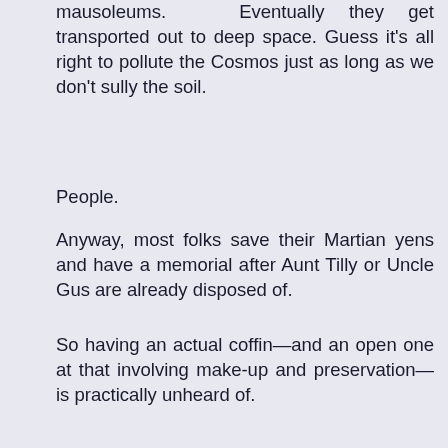mausoleums. Eventually they get transported out to deep space. Guess it's all right to pollute the Cosmos just as long as we don't sully the soil.
People.
Anyway, most folks save their Martian yens and have a memorial after Aunt Tilly or Uncle Gus are already disposed of.
So having an actual coffin—and an open one at that involving make-up and preservation—is practically unheard of.
But that's what Whitby wanted; he always seemed to love a good show.
Of course, the real draw for most—including us—is seeing what they did about the severed head.